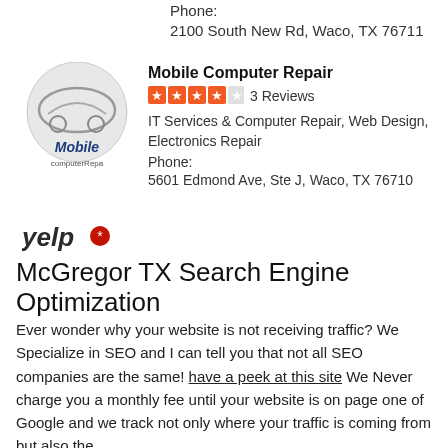Phone:
2100 South New Rd, Waco, TX 76711
[Figure (logo): Mobile Computer Repair circular logo with car and text 'Mobile computerRepa']
Mobile Computer Repair
3 Reviews
IT Services & Computer Repair, Web Design, Electronics Repair
Phone:
5601 Edmond Ave, Ste J, Waco, TX 76710
[Figure (logo): Yelp logo]
McGregor TX Search Engine Optimization
Ever wonder why your website is not receiving traffic? We Specialize in SEO and I can tell you that not all SEO companies are the same! have a peek at this site We Never charge you a monthly fee until your website is on page one of Google and we track not only where your traffic is coming from but also the